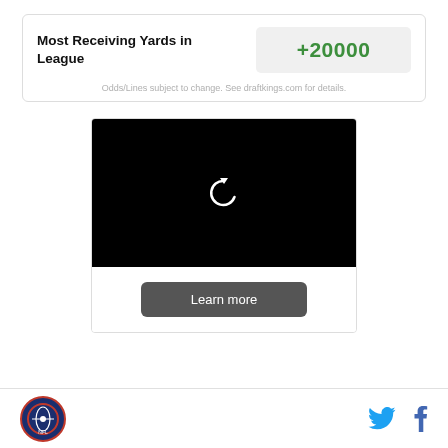Most Receiving Yards in League
+20000
Odds/Lines subject to change. See draftkings.com for details.
[Figure (screenshot): Black video player area with a replay/refresh icon (circular arrow) centered on a black background, below which is a 'Learn more' button on a white background]
Footer with sports logo on left and Twitter and Facebook social icons on right